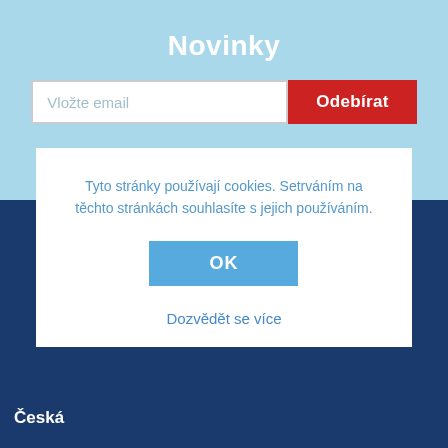Novinky
[Figure (screenshot): Email input field with placeholder 'Vložte email' and red 'Odebírat' button]
Tyto stránky používají cookies. Setrváním na těchto stránkách souhlasíte s jejich používáním.
OK
Dozvědět se více
Česká
[Figure (infographic): Social media icons: Facebook, YouTube, Instagram in circles]
ČTA
ZÁVODY